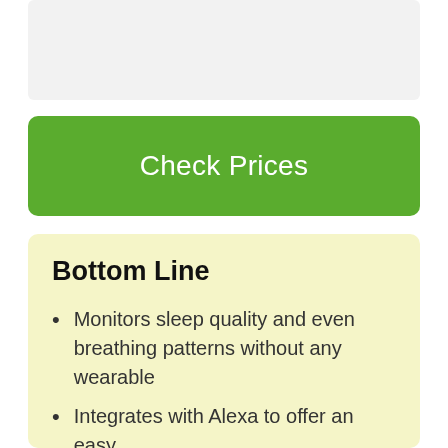[Figure (other): Gray placeholder box at top of page]
Check Prices
Bottom Line
Monitors sleep quality and even breathing patterns without any wearable
Integrates with Alexa to offer an easy...